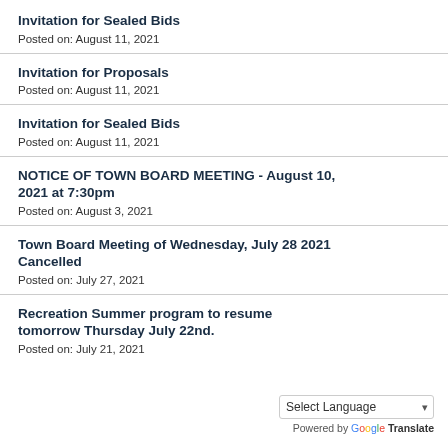Invitation for Sealed Bids
Posted on: August 11, 2021
Invitation for Proposals
Posted on: August 11, 2021
Invitation for Sealed Bids
Posted on: August 11, 2021
NOTICE OF TOWN BOARD MEETING - August 10, 2021 at 7:30pm
Posted on: August 3, 2021
Town Board Meeting of Wednesday, July 28 2021 Cancelled
Posted on: July 27, 2021
Recreation Summer program to resume tomorrow Thursday July 22nd.
Posted on: July 21, 2021